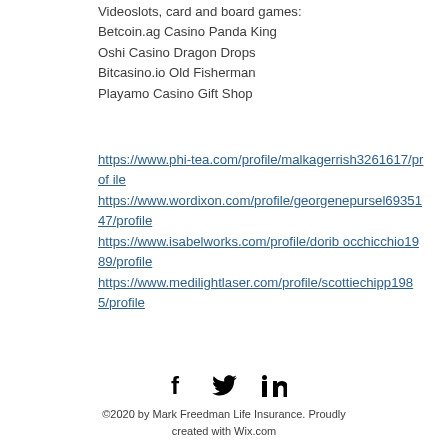Videoslots, card and board games:
Betcoin.ag Casino Panda King
Oshi Casino Dragon Drops
Bitcasino.io Old Fisherman
Playamo Casino Gift Shop
https://www.phi-tea.com/profile/malkagerrish3261617/profile https://www.wordixon.com/profile/georgenepursel6935147/profile https://www.isabelworks.com/profile/doribocchicchio1989/profile https://www.medilightlaser.com/profile/scottiechipp1985/profile
[Figure (infographic): Social media icons: Facebook, Twitter, LinkedIn in black]
©2020 by Mark Freedman Life Insurance. Proudly created with Wix.com